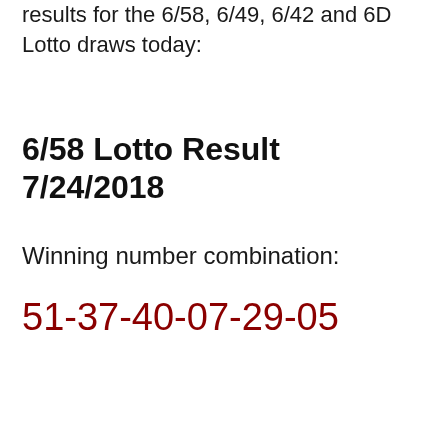results for the 6/58, 6/49, 6/42 and 6D Lotto draws today:
6/58 Lotto Result 7/24/2018
Winning number combination:
51-37-40-07-29-05